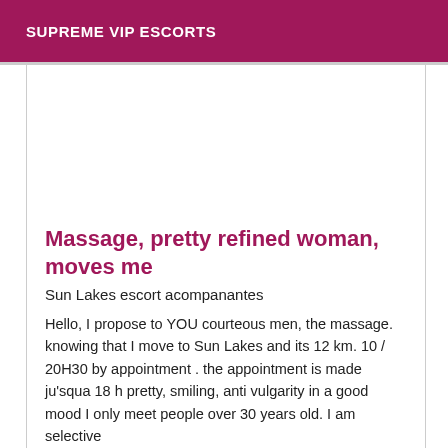SUPREME VIP ESCORTS
Massage, pretty refined woman, moves me
Sun Lakes escort acompanantes
Hello, I propose to YOU courteous men, the massage. knowing that I move to Sun Lakes and its 12 km. 10 / 20H30 by appointment . the appointment is made ju'squa 18 h pretty, smiling, anti vulgarity in a good mood I only meet people over 30 years old. I am selective